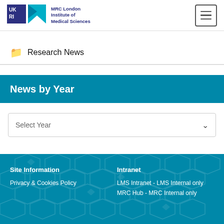MRC London Institute of Medical Sciences
Research News
News by Year
Select Year
Site Information
Privacy & Cookies Policy
Intranet
LMS Intranet - LMS Internal only
MRC Hub - MRC Internal only